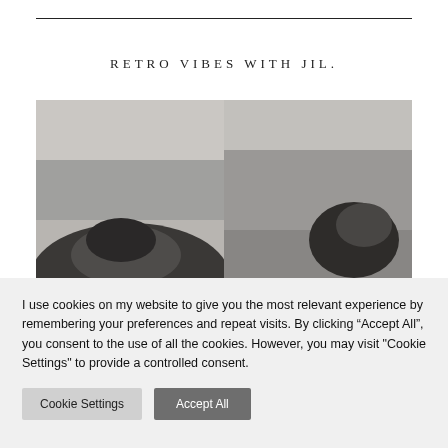RETRO VIBES WITH JIL.
[Figure (photo): Two black-and-white photographs side by side showing blurry close-up shots of what appear to be faces or figures with a retro aesthetic]
I use cookies on my website to give you the most relevant experience by remembering your preferences and repeat visits. By clicking “Accept All”, you consent to the use of all the cookies. However, you may visit “Cookie Settings” to provide a controlled consent.
Cookie Settings   Accept All